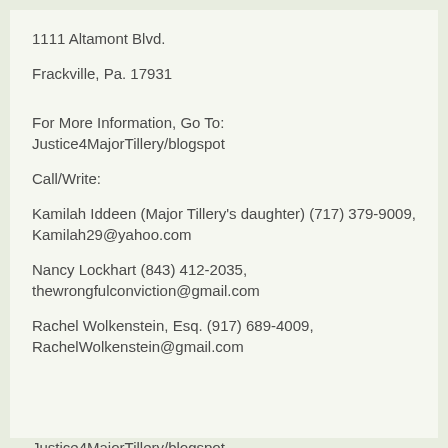1111 Altamont Blvd.
Frackville, Pa. 17931
For More Information, Go To: Justice4MajorTillery/blogspot
Call/Write:
Kamilah Iddeen (Major Tillery's daughter) (717) 379-9009, Kamilah29@yahoo.com
Nancy Lockhart (843) 412-2035, thewrongfulconviction@gmail.com
Rachel Wolkenstein, Esq. (917) 689-4009, RachelWolkenstein@gmail.com
Justice4MajorTillery/blogspot